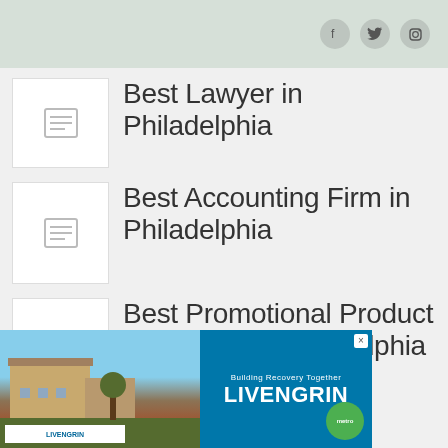Best Lawyer in Philadelphia
Best Accounting Firm in Philadelphia
Best Promotional Product Company in Philadelphia
[Figure (photo): Advertisement for LIVENGRIN showing a building photo with text 'Building Recovery Together LIVENGRIN']